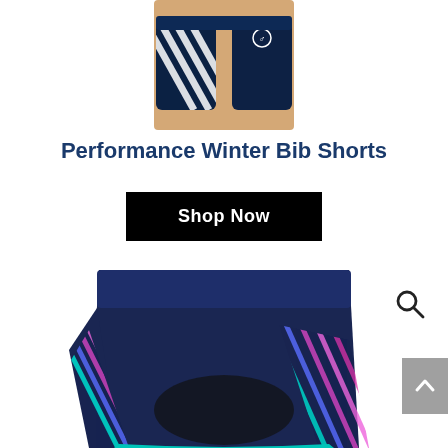[Figure (photo): Partial image showing legs/torso wearing dark navy and white striped cycling bib shorts, cropped at top of page]
Performance Winter Bib Shorts
Shop Now
[Figure (photo): Navy blue cycling shorts with colorful diagonal stripe pattern in teal, blue, purple and pink on the sides, shown from waist down]